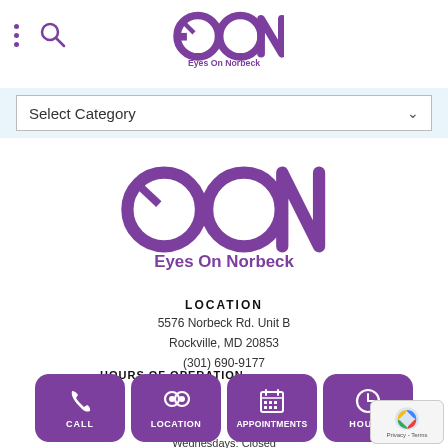Eyes On Norbeck (logo + navigation)
[Figure (screenshot): Select Category dropdown bar]
[Figure (logo): Eyes On Norbeck large purple logo with stylized glasses forming EON letters]
LOCATION
5576 Norbeck Rd. Unit B
Rockville, MD 20853
(301) 690-9177
HOURS OF OPERATION
Mondays: Closed
Wednesdays: Closed
Thursday: 10:00am-6:00pm
Friday: 9:00am-5:00pm
[Figure (screenshot): Four purple rounded-rectangle buttons: CALL, LOCATION, APPOINTMENTS, HOURS]
[Figure (screenshot): reCAPTCHA badge Privacy - Terms]